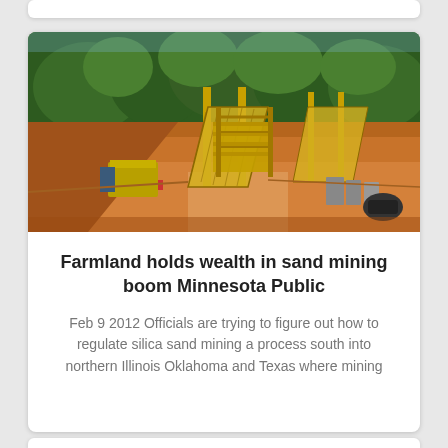[Figure (photo): Aerial view of a silica sand mining operation with yellow conveyor belt structures, orange-brown earth, and green forested hills in the background]
Farmland holds wealth in sand mining boom Minnesota Public
Feb 9 2012 Officials are trying to figure out how to regulate silica sand mining a process south into northern Illinois Oklahoma and Texas where mining